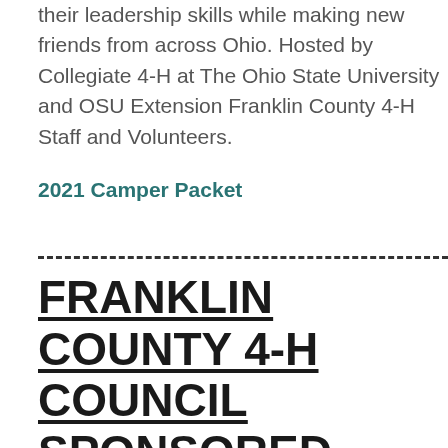their leadership skills while making new friends from across Ohio. Hosted by Collegiate 4-H at The Ohio State University and OSU Extension Franklin County 4-H Staff and Volunteers.
2021 Camper Packet
FRANKLIN COUNTY 4-H COUNCIL SPONSORED TRIP AWARDS